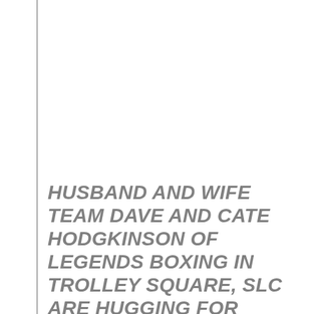HUSBAND AND WIFE TEAM DAVE AND CATE HODGKINSON OF LEGENDS BOXING IN TROLLEY SQUARE, SLC ARE HUGGING FOR REAL.